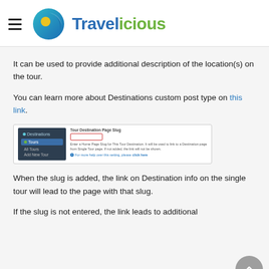[Figure (logo): Travelicious logo with hamburger menu icon, globe icon, and brand name in blue and green]
It can be used to provide additional description of the location(s) on the tour.
You can learn more about Destinations custom post type on this link.
[Figure (screenshot): Screenshot of WordPress admin showing Tour Destination Page Slug field with a red-bordered text input and help text below]
When the slug is added, the link on Destination info on the single tour will lead to the page with that slug.
If the slug is not entered, the link leads to additional